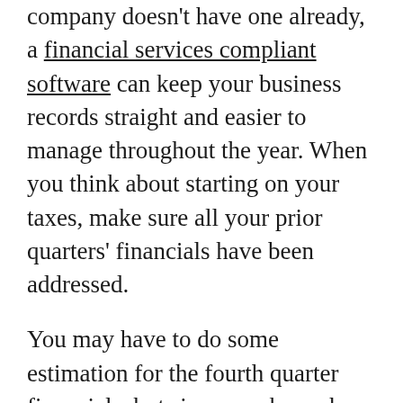company doesn't have one already, a financial services compliant software can keep your business records straight and easier to manage throughout the year. When you think about starting on your taxes, make sure all your prior quarters' financials have been addressed.
You may have to do some estimation for the fourth quarter financials, but since you know how your business tends to run and how it does during the final months of the year, your projections shouldn't be too far off. Small businesses generally pay taxes based on the prior year's financials, as the estimated tax